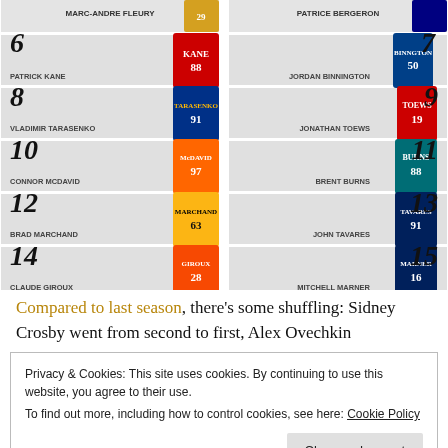[Figure (infographic): NHL player jersey ranking infographic showing players ranked 6-15 in two columns with jersey images. Left column: 6 Patrick Kane (#88), 8 Vladimir Tarasenko (#91), 10 Connor McDavid (#97), 12 Brad Marchand (#63), 14 Claude Giroux (#28). Right column: 7 Jordan Binnington (#50), 9 Jonathan Toews (#19), 11 Brent Burns (#88), 13 John Tavares (#91), 15 Mitchell Marner (#16). Top row shows Marc-Andre Fleury and Patrice Bergeron.]
Compared to last season, there’s some shuffling: Sidney Crosby went from second to first, Alex Ovechkin
Privacy & Cookies: This site uses cookies. By continuing to use this website, you agree to their use.
To find out more, including how to control cookies, see here: Cookie Policy
Close and accept
darling Jordan Binnington jumping up to the seventh